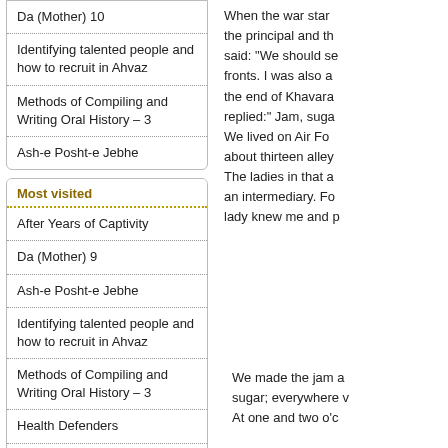Da (Mother) 10
Identifying talented people and how to recruit in Ahvaz
Methods of Compiling and Writing Oral History – 3
Ash-e Posht-e Jebhe
Most visited
After Years of Captivity
Da (Mother) 9
Ash-e Posht-e Jebhe
Identifying talented people and how to recruit in Ahvaz
Methods of Compiling and Writing Oral History – 3
Health Defenders
Methods of Compiling and Writing Oral History – 4
Da (Mother) 18
When the war star the principal and th said: "We should se fronts. I was also a the end of Khavara replied:" Jam, suga We lived on Air Fo about thirteen alley The ladies in that a an intermediary. Fo lady knew me and p
We made the jam a sugar; everywhere v At one and two o'c